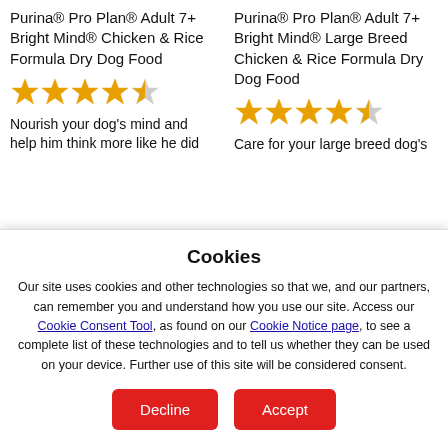Purina® Pro Plan® Adult 7+ Bright Mind® Chicken & Rice Formula Dry Dog Food
[Figure (other): 4.5 out of 5 stars rating (4 full stars, 1 half star)]
Nourish your dog's mind and help him think more like he did
Purina® Pro Plan® Adult 7+ Bright Mind® Large Breed Chicken & Rice Formula Dry Dog Food
[Figure (other): 4.5 out of 5 stars rating (4 full stars, 1 half star)]
Care for your large breed dog's
Cookies
Our site uses cookies and other technologies so that we, and our partners, can remember you and understand how you use our site. Access our Cookie Consent Tool, as found on our Cookie Notice page, to see a complete list of these technologies and to tell us whether they can be used on your device. Further use of this site will be considered consent.
Decline
Accept